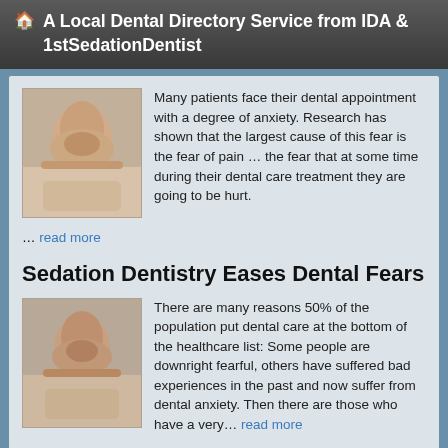A Local Dental Directory Service from IDA & 1stSedationDentist
Many patients face their dental appointment with a degree of anxiety. Research has shown that the largest cause of this fear is the fear of pain … the fear that at some time during their dental care treatment they are going to be hurt.
… read more
Sedation Dentistry Eases Dental Fears
There are many reasons 50% of the population put dental care at the bottom of the healthcare list: Some people are downright fearful, others have suffered bad experiences in the past and now suffer from dental anxiety. Then there are those who have a very… read more